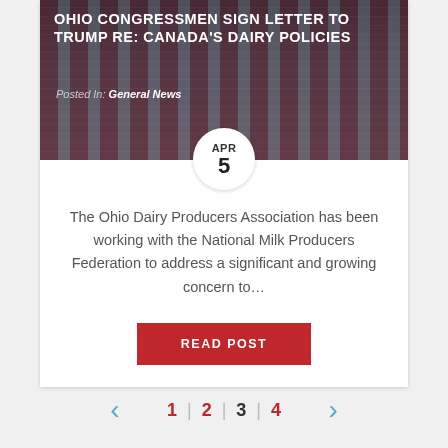[Figure (photo): Person in dark suit speaking at a podium with American flags in background, overlaid with article title and posted-in tag]
OHIO CONGRESSMEN SIGN LETTER TO TRUMP RE: CANADA'S DAIRY POLICIES
Posted In: General News
The Ohio Dairy Producers Association has been working with the National Milk Producers Federation to address a significant and growing concern to…
READ POST
1 | 2 | 3 | 4